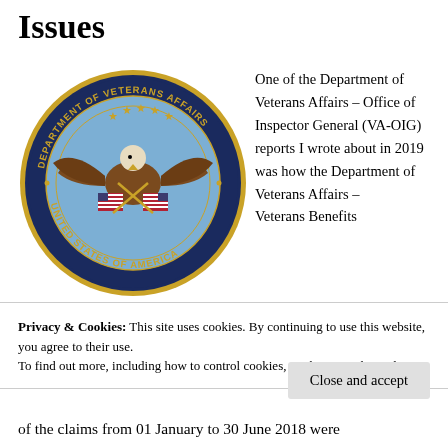Issues
[Figure (logo): Department of Veterans Affairs seal - circular seal with eagle, American flags, stars, and text 'DEPARTMENT OF VETERANS AFFAIRS' and 'UNITED STATES OF AMERICA']
One of the Department of Veterans Affairs – Office of Inspector General (VA-OIG) reports I wrote about in 2019 was how the Department of Veterans Affairs – Veterans Benefits
Privacy & Cookies: This site uses cookies. By continuing to use this website, you agree to their use.
To find out more, including how to control cookies, see here: Cookie Policy
Close and accept
of the claims from 01 January to 30 June 2018 were